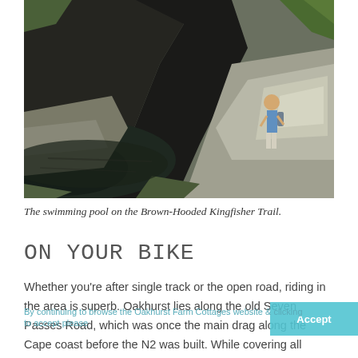[Figure (photo): A hiker in a blue shirt and shorts stands on large rocks beside a dark rock face and a still water pool, surrounded by lush green vegetation. This is the swimming pool on the Brown-Hooded Kingfisher Trail.]
The swimming pool on the Brown-Hooded Kingfisher Trail.
On your bike
Whether you're after single track or the open road, riding in the area is superb. Oakhurst lies along the old Seven Passes Road, which was once the main drag along the Cape coast before the N2 was built. While covering all seven passes on